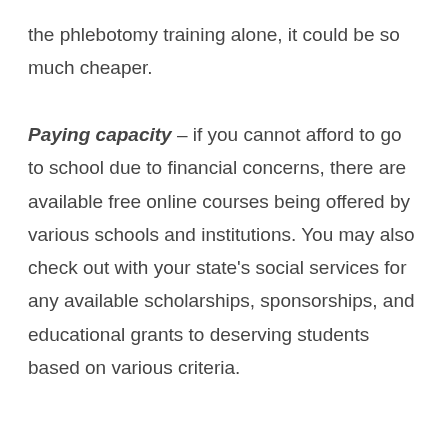the phlebotomy training alone, it could be so much cheaper.
Paying capacity – if you cannot afford to go to school due to financial concerns, there are available free online courses being offered by various schools and institutions. You may also check out with your state's social services for any available scholarships, sponsorships, and educational grants to deserving students based on various criteria.